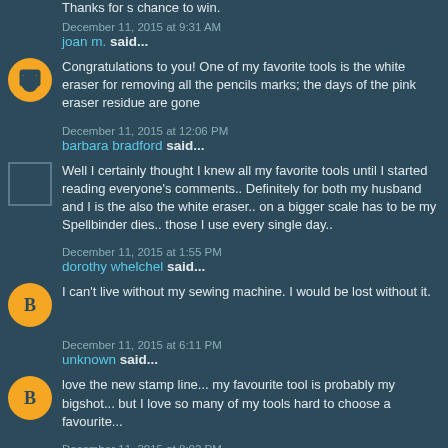Thanks for s chance to win.
December 11, 2015 at 9:31 AM
joan m. said...
Congratulations to you! One of my favorite tools is the white eraser for removing all the pencils marks; the days of the pink eraser residue are gone
December 11, 2015 at 12:06 PM
barbara bradford said...
Well I certainly thought I knew all my favorite tools until I started reading everyone's comments.. Definitely for both my husband and I is the also the white eraser.. on a bigger scale has to be my Spellbinder dies.. those I use every single day..
December 11, 2015 at 1:55 PM
dorothy whelchel said...
I can't live without my sewing machine. I would be lost without it.
December 11, 2015 at 6:11 PM
unknown said...
love the new stamp line... my favourite tool is probably my bigshot... but I love so many of my tools hard to choose a favourite...
December 11, 2015 at 8:02 PM
carmen said...
Those stamps are soooo cool!!!